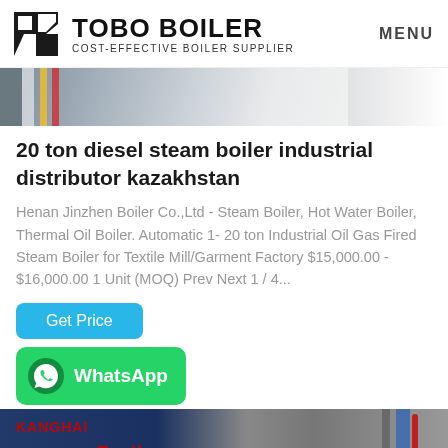TOBO BOILER COST-EFFECTIVE BOILER SUPPLIER | MENU
[Figure (photo): Partial photo of industrial boiler equipment, showing pipes and colored stripes]
20 ton diesel steam boiler industrial distributor kazakhstan
Henan Jinzhen Boiler Co.,Ltd - Steam Boiler, Hot Water Boiler, Thermal Oil Boiler. Automatic 1- 20 ton Industrial Oil Gas Fired Steam Boiler for Textile Mill/Garment Factory $15,000.00 - $16,000.00 1 Unit (MOQ) Prev Next 1 / 4...
Get Price
WhatsApp
[Figure (photo): Bottom photo showing industrial boiler machinery with red Chinese text branding and pipe components]